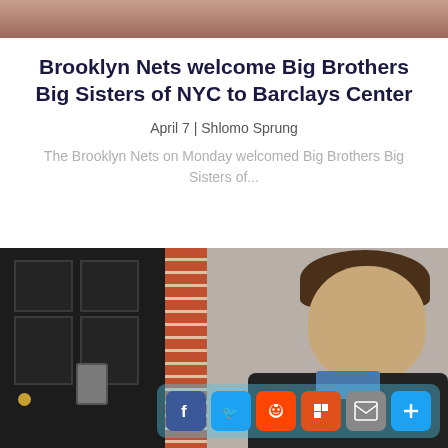[Figure (photo): Cropped top image showing people at an event, partially visible]
Brooklyn Nets welcome Big Brothers Big Sisters of NYC to Barclays Center
April 7 | Shlomo Sprung
The Brooklyn Nets on Monday welcomed Big Brothers Big Sisters of...
[Figure (photo): Photo of a man smiling, standing in front of a black door and brick wall. Social share buttons overlay the bottom right: Facebook, Twitter, Reddit, Flipboard, Email, Plus.]